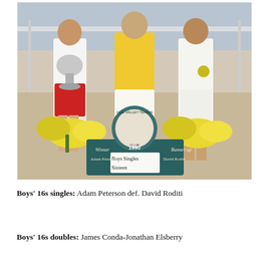[Figure (photo): Color photograph of two young tennis players and a woman standing in front of a tennis net with yellow flowers and an Ojai Valley Tennis Club trophy board. The left player holds a large trophy and wears red shorts. The right player wears white with a medal. A sign reads '1990, Boys Singles Sixteen, Winner: Adam Peterson, Runner-up: David Roditi'.]
Boys' 16s singles: Adam Peterson def. David Roditi
Boys' 16s doubles: James Conda-Jonathan Elsberry